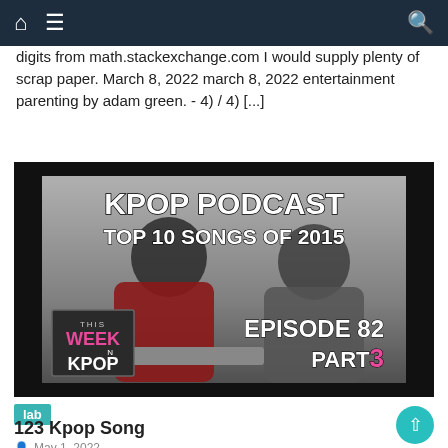Navigation bar with home, menu and search icons
digits from math.stackexchange.com I would supply plenty of scrap paper. March 8, 2022 march 8, 2022 entertainment parenting by adam green. - 4) / 4) [...]
[Figure (screenshot): Thumbnail image for KPOP Podcast video: Top 10 Songs of 2015, Episode 82 Part 3. Two men sitting at a table fist-bumping, with 'This Week in Kpop' logo overlay.]
lab
123 Kpop Song
May 1, 2022